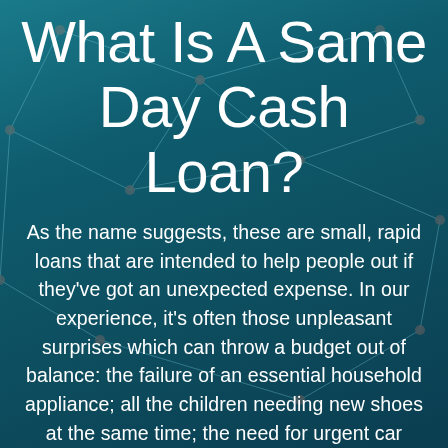What Is A Same Day Cash Loan?
As the name suggests, these are small, rapid loans that are intended to help people out if they've got an unexpected expense. In our experience, it's often those unpleasant surprises which can throw a budget out of balance: the failure of an essential household appliance; all the children needing new shoes at the same time; the need for urgent car repairs so that you can get to work; an unpaid bill you'd forgotten about; an emergency repair to the home or temporary ill-health which necessitates